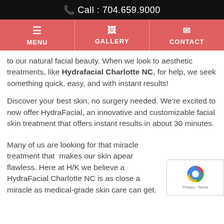📞 Call : 704.659.9000
MENU | GALLERY | CONTACT
to our natural facial beauty. When we look to aesthetic treatments, like Hydrafacial Charlotte NC, for help, we seek something quick, easy, and with instant results!
Discover your best skin, no surgery needed. We're excited to now offer HydraFacial, an innovative and customizable facial skin treatment that offers instant results in about 30 minutes.
Many of us are looking for that miracle treatment that  makes our skin apear flawless. Here at H/K we believe a HydraFacial Charlotte NC is as close a miracle as medical-grade skin care can get.